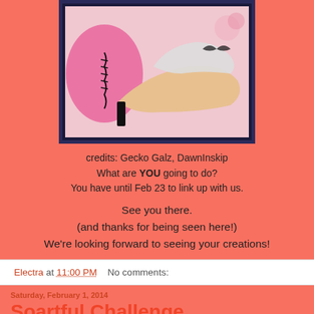[Figure (illustration): Illustration of a high-heel shoe with pink and black decorative elements on a pink/beige background, framed with a dark border]
credits:  Gecko Galz, DawnInskip
What are YOU going to do?
You have until Feb 23 to link up with us.
See you there.
(and thanks for being seen here!)
We're looking forward to seeing your creations!
Electra at 11:00 PM    No comments:
Saturday, February 1, 2014
Soartful Challenge
is Flourishes in Shades of Red